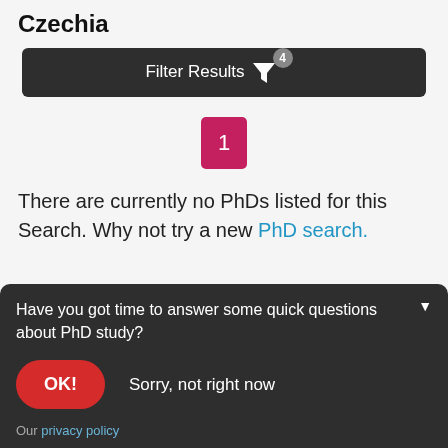Czechia
Filter Results 4
1
There are currently no PhDs listed for this Search. Why not try a new PhD search.
Have you got time to answer some quick questions about PhD study?
OK!  Sorry, not right now
Our privacy policy